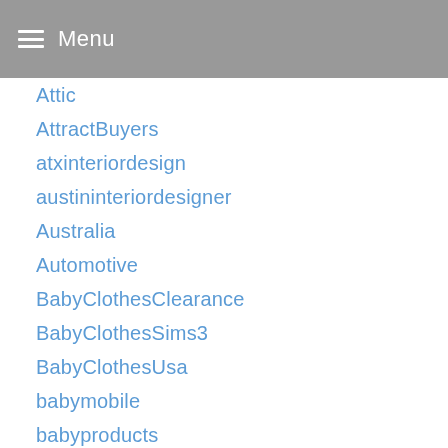Menu
Attic
AttractBuyers
atxinteriordesign
austininteriordesigner
Australia
Automotive
BabyClothesClearance
BabyClothesSims3
BabyClothesUsa
babymobile
babyproducts
Babyproofing
BabySafety
BabySleep
BachelorPad
Backpacks
BackToSchool